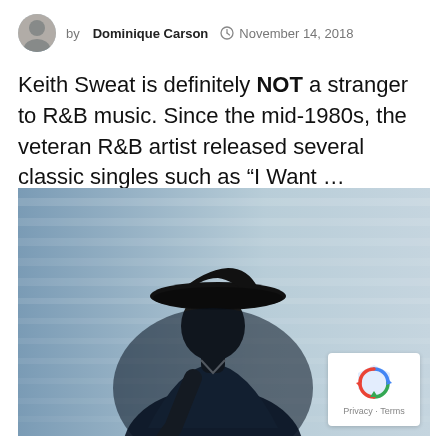by Dominique Carson  November 14, 2018
Keith Sweat is definitely NOT a stranger to R&B music. Since the mid-1980s, the veteran R&B artist released several classic singles such as “I Want …
[Figure (photo): A performer wearing a wide-brimmed hat, leaning forward and singing or performing, photographed in a moody blue-grey dramatic lighting style against a blurred striped background.]
Privacy · Terms